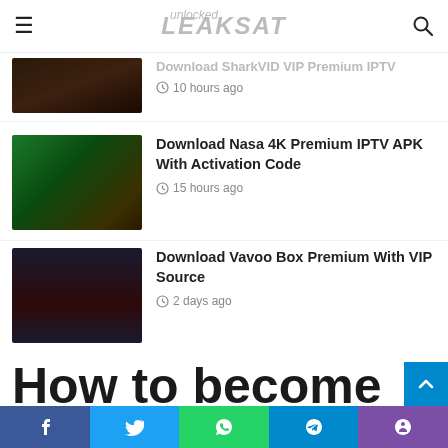LEAKSAT unlocked
Download SharkVID VIP Premium IPTV
10 hours ago
Download Nasa 4K Premium IPTV APK With Activation Code
15 hours ago
Download Vavoo Box Premium With VIP Source
2 days ago
How to become an Forex broker